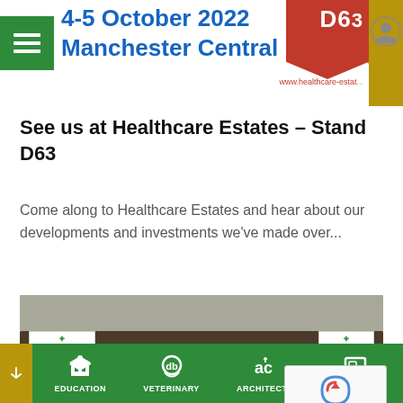4-5 October 2022 Manchester Central
See us at Healthcare Estates – Stand D63
Come along to Healthcare Estates and hear about our developments and investments we've made over...
[Figure (photo): Group photo of a youth football team in black and yellow striped jerseys posed in front of David Bailey Healthcare Estates banners]
EDUCATION  VETERINARY  ARCHITECTS  BROCHURE